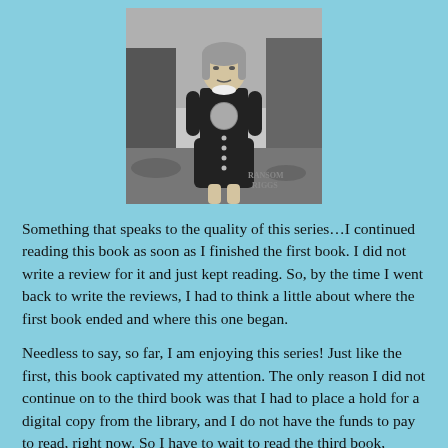[Figure (photo): Black and white photograph of a young girl standing in a dark outdoor setting, wearing a dark dress with a circular design on the chest and buttons down the front. The words 'RANSOM RIGGS' are visible in the lower right area of the image, suggesting this is a book cover.]
Something that speaks to the quality of this series…I continued reading this book as soon as I finished the first book. I did not write a review for it and just kept reading. So, by the time I went back to write the reviews, I had to think a little about where the first book ended and where this one began.
Needless to say, so far, I am enjoying this series! Just like the first, this book captivated my attention. The only reason I did not continue on to the third book was that I had to place a hold for a digital copy from the library, and I do not have the funds to pay to read, right now. So I have to wait to read the third book, before I can share, and I am sure that it does…